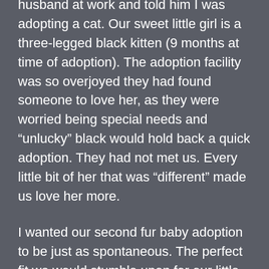husband at work and told him I was adopting a cat. Our sweet little girl is a three-legged black kitten (9 months at time of adoption). The adoption facility was so overjoyed they had found someone to love her, as they were worried being special needs and “unlucky” black would hold back a quick adoption. They had not met us. Every little bit of her that was “different” made us love her more.
I wanted our second fur baby adoption to be just as spontaneous. The perfect fit we would stumble upon for our little family. However, with Covid shutting down all casual visits to animal rescue facilities, it seemed more clinical to find a new child than we wanted. On the other hand, now that I wasn't working we had the time to commit to making he or she comfortable, and (equally as important) time to get our first baby